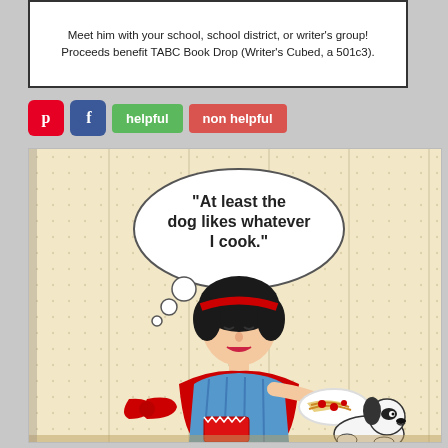Meet him with your school, school district, or writer's group! Proceeds benefit TABC Book Drop (Writer's Cubed, a 501c3).
[Figure (illustration): Buttons row: Pinterest icon (red), Facebook icon (blue), green 'helpful' button, red 'non helpful' button]
[Figure (illustration): Retro pop-art style illustration of a 1950s housewife in a red apron and blue plaid dress, holding a plate of spaghetti with a small dog at her feet. Speech bubble says: 'At least the dog likes whatever I cook.']